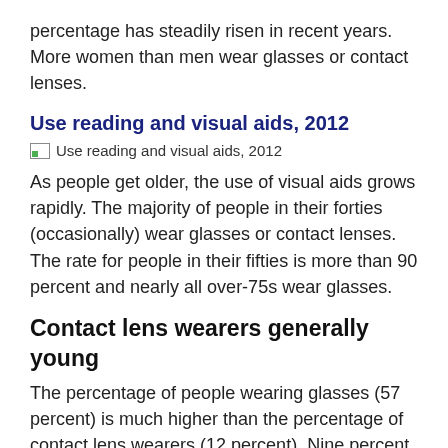percentage has steadily risen in recent years. More women than men wear glasses or contact lenses.
Use reading and visual aids, 2012
[Figure (illustration): Image placeholder labeled 'Use reading and visual aids, 2012']
As people get older, the use of visual aids grows rapidly. The majority of people in their forties (occasionally) wear glasses or contact lenses. The rate for people in their fifties is more than 90 percent and nearly all over-75s wear glasses.
Contact lens wearers generally young
The percentage of people wearing glasses (57 percent) is much higher than the percentage of contact lens wearers (12 percent). Nine percent of people indicate to use both. Contact lens wearers are generally young.
Among people wearing glasses, 54 percent wear them on a more or less full-time basis. With 79 percent, the rate of full-